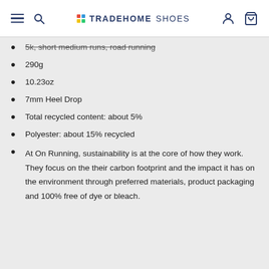TRADEHOME SHOES
5k, short medium runs, road running
290g
10.23oz
7mm Heel Drop
Total recycled content: about 5%
Polyester: about 15% recycled
At On Running, sustainability is at the core of how they work. They focus on the their carbon footprint and the impact it has on the environment through preferred materials, product packaging and 100% free of dye or bleach.